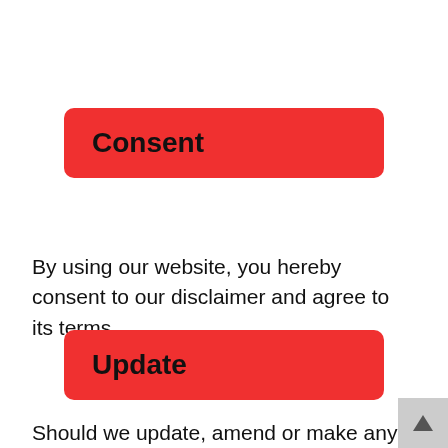Consent
By using our website, you hereby consent to our disclaimer and agree to its terms.
Update
Should we update, amend or make any changes to this